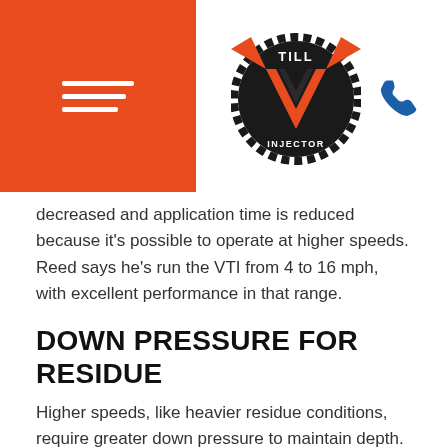[Figure (logo): VTI (Vertical Till Injector) logo — circular black gear/disc background with orange V-shape chevron and 'TILL' text at top, 'INJECTOR' at bottom]
decreased and application time is reduced because it's possible to operate at higher speeds. Reed says he's run the VTI from 4 to 16 mph, with excellent performance in that range.
DOWN PRESSURE FOR RESIDUE
Higher speeds, like heavier residue conditions, require greater down pressure to maintain depth. Normally, 800 to 1,200 PSI is adequate for all conditions, but pressure can be increased up to 2,500 pounds and can be controlled from the tractor cab as weight is hydraulically transferred